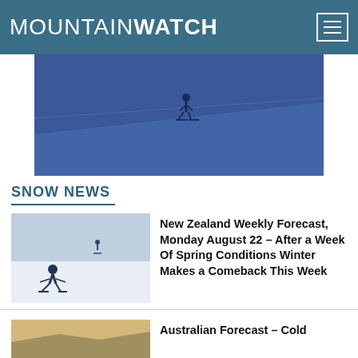MOUNTAINWATCH
[Figure (photo): Blue-tinted skiing action photo showing skier on snowy slope]
SNOW NEWS
[Figure (photo): Two skiers on a wide snowy slope, one in foreground carving turn]
New Zealand Weekly Forecast, Monday August 22 – After a Week Of Spring Conditions Winter Makes a Comeback This Week
[Figure (photo): Mountain landscape photo, warm light on snow and rock]
Australian Forecast – Cold